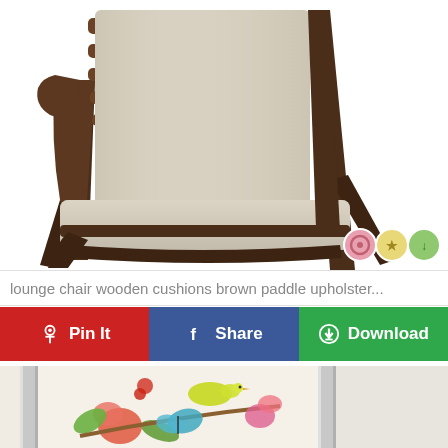[Figure (photo): Mid-century modern lounge chair with dark walnut wooden frame and slatted back, light linen cushions, angled legs. Three small circular social sharing icons (pink, yellow, green) in bottom-right corner of image.]
lounge chair wooden cushions brown paddle upholster...
[Figure (infographic): Three action buttons: red 'Pin It' with Pinterest icon, blue 'Share' with Facebook icon, green 'Download' with download icon.]
[Figure (photo): Partial view of a framed botanical art print showing colorful birds, butterfly, and flowers, with silver/metallic frame visible on left and right edges.]